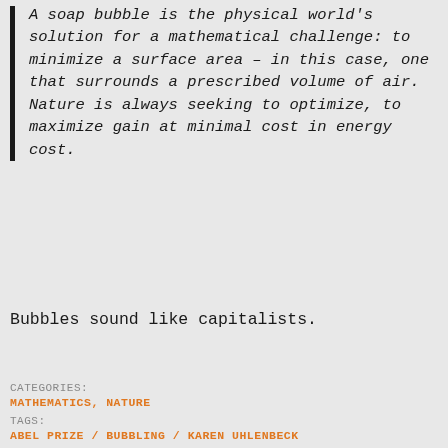A soap bubble is the physical world's solution for a mathematical challenge: to minimize a surface area – in this case, one that surrounds a prescribed volume of air. Nature is always seeking to optimize, to maximize gain at minimal cost in energy cost.
Bubbles sound like capitalists.
CATEGORIES: MATHEMATICS, NATURE
TAGS: ABEL PRIZE / BUBBLING / KAREN UHLENBECK